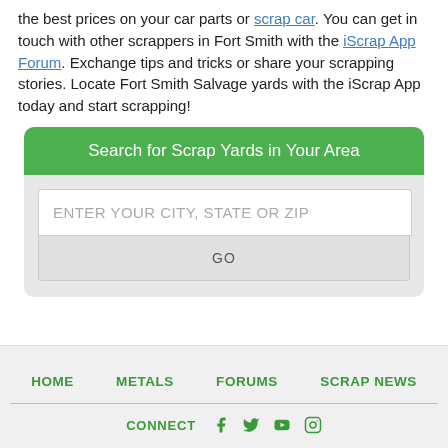the best prices on your car parts or scrap car. You can get in touch with other scrappers in Fort Smith with the iScrap App Forum. Exchange tips and tricks or share your scrapping stories. Locate Fort Smith Salvage yards with the iScrap App today and start scrapping!
[Figure (screenshot): Search widget with green header 'Search for Scrap Yards in Your Area', a text input field with placeholder 'ENTER YOUR CITY, STATE OR ZIP', and a GO button below it on a light gray background.]
HOME  METALS  FORUMS  SCRAP NEWS  CONNECT (social icons: Facebook, Twitter, YouTube, Instagram)